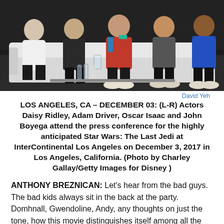[Figure (photo): Group of actors seated in a row at a press conference panel, against a dark background. Multiple people visible seated in white chairs.]
David Yeh
LOS ANGELES, CA – DECEMBER 03: (L-R) Actors Daisy Ridley, Adam Driver, Oscar Isaac and John Boyega attend the press conference for the highly anticipated Star Wars: The Last Jedi at InterContinental Los Angeles on December 3, 2017 in Los Angeles, California. (Photo by Charley Gallay/Getty Images for Disney )
ANTHONY BREZNICAN: Let's hear from the bad guys. The bad kids always sit in the back at the party. Domhnall, Gwendoline, Andy, any thoughts on just the tone, how this movie distinguishes itself among all the different Star Wars films?